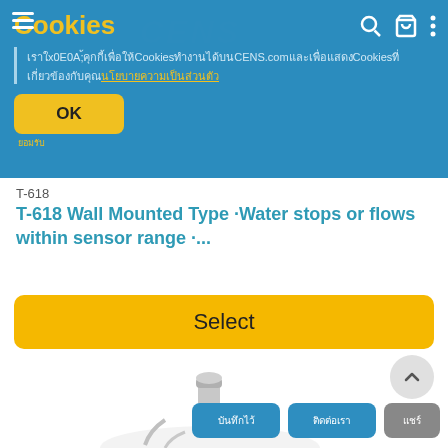[Figure (screenshot): CENS website header with hamburger menu, CENS logo watermark, search and cart icons on a blue background with a microphone product silhouette]
Cookies
เราใช้คุกกี้เพื่อให้ Cookies ทำงานได้บน CENS.com และเพื่อแสดง Cookies ที่เกี่ยวข้องกับคุณ
OK
T-618
T-618 Wall Mounted Type ·Water stops or flows within sensor range ·...
Select
[Figure (photo): Partial product photo of a wall mounted sensor/faucet device in chrome/silver finish]